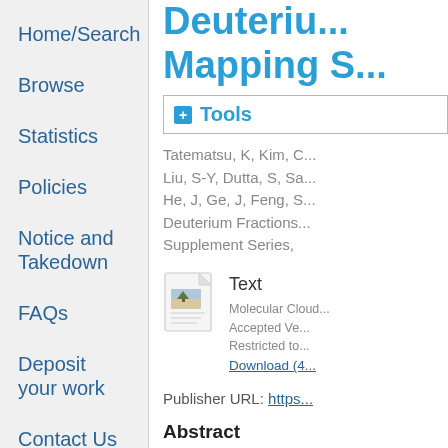Home/Search
Browse
Statistics
Policies
Notice and Takedown
FAQs
Deposit your work
Contact Us
Login
Deuterium... Mapping S...
+ Tools
Tatematsu, K, Kim, G... Liu, S-Y, Dutta, S, Sa... He, J, Ge, J, Feng, S... Deuterium Fractions... Supplement Series,
[Figure (illustration): Document/file icon with a small landscape image thumbnail]
Text
Molecular Cloud...
Accepted Ve...
Restricted to...
Download (4...
Publisher URL: https...
Abstract